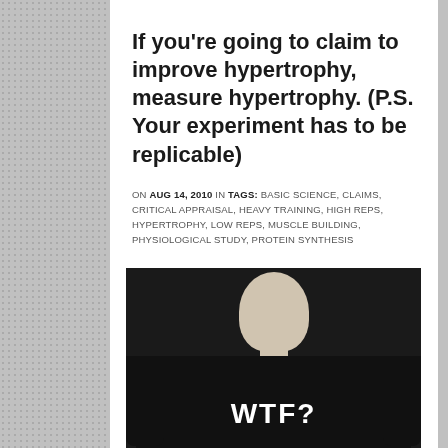If you're going to claim to improve hypertrophy, measure hypertrophy. (P.S. Your experiment has to be replicable)
ON AUG 14, 2010 IN TAGS: BASIC SCIENCE, CLAIMS, CRITICAL APPRAISAL, HEAVY TRAINING, HIGH REPS, HYPERTROPHY, LOW REPS, MUSCLE BUILDING, PHYSIOLOGICAL STUDY, PROTEIN SYNTHESIS
[Figure (photo): Person wearing a black sweatshirt with 'WTF?' printed in white bold letters on the chest. Only the torso and lower face/neck area visible.]